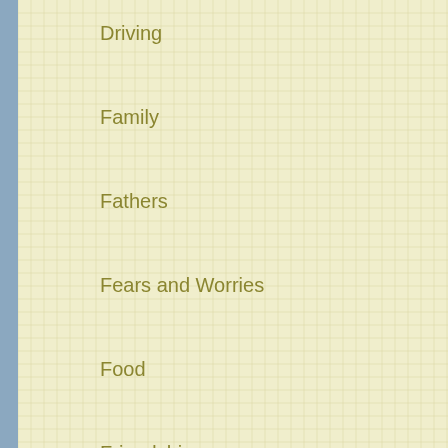Driving
Family
Fathers
Fears and Worries
Food
Friendship
Grandmother
Gratitude
Growing up
Holidays
Mothers
Nature
Pets